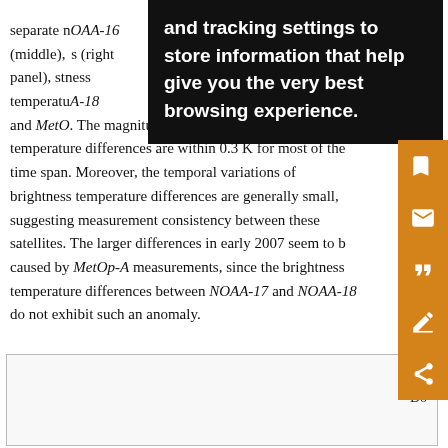separate noaa-16 (middle), noaa-18 (right panel), surface brightness temperature noaa-18 and MetOp-A. The magnitude of the brightness temperature differences are within 0.3 K for most of the time span. Moreover, the temporal variations of brightness temperature differences are generally small, suggesting measurement consistency between these satellites. The larger differences in early 2007 seem to be caused by MetOp-A measurements, since the brightness temperature differences between NOAA-17 and NOAA-18 do not exhibit such an anomaly.
[Figure (other): Cookie consent / tracking settings popup overlay on the page, with black background and white text reading: 'and tracking settings to store information that help give you the very best browsing experience.']
[Figure (other): Orange sidebar with icons: save, email/envelope, quote, annotation/edit, share]
[Figure (other): Bottom figure box partially visible with caption 'Fig.' and 'Do' text]